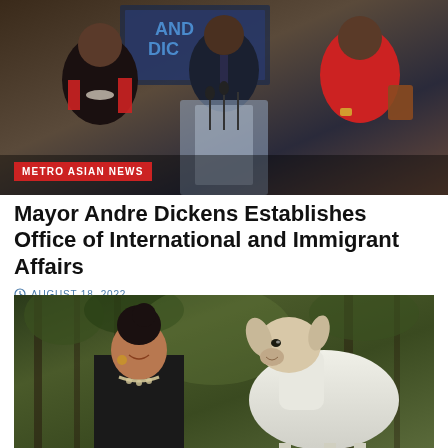[Figure (photo): Photo of Mayor Andre Dickens at a podium with people around him, including women in red and black outfits. A sign reading 'ANDRE DICKENS' is partially visible in the background.]
METRO ASIAN NEWS
Mayor Andre Dickens Establishes Office of International and Immigrant Affairs
AUGUST 18, 2022
[Figure (photo): Photo of an Asian woman smiling, wearing a dark blazer and necklace, standing next to a white goat in a wooded outdoor setting.]